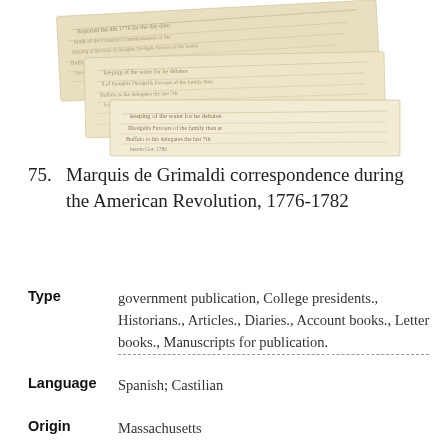[Figure (photo): Overlapping historical handwritten manuscript pages with cursive text in sepia/aged parchment tones.]
75. Marquis de Grimaldi correspondence during the American Revolution, 1776-1782
Type   government publication, College presidents., Historians., Articles., Diaries., Account books., Letter books., Manuscripts for publication.
Language   Spanish; Castilian
Origin   Massachusetts
Repository   Houghton Library, Harvard University